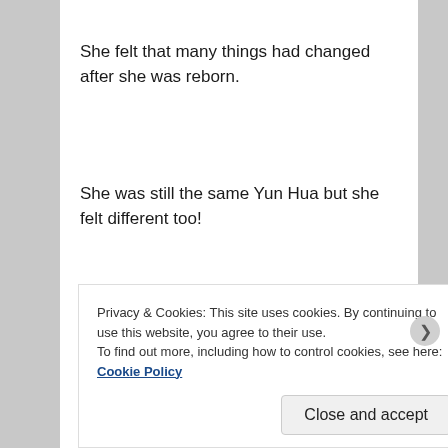She felt that many things had changed after she was reborn.
She was still the same Yun Hua but she felt different too!
For example, her memory had become better. While it was not on the level of a photographic memory, but she would be able to memorise a completely new piece of passage after reading it twice!
She also felt light while running and seemed to have an increased lung capacity.
There were also her abilities to...
Privacy & Cookies: This site uses cookies. By continuing to use this website, you agree to their use.
To find out more, including how to control cookies, see here: Cookie Policy